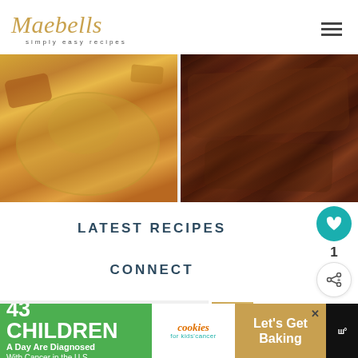Maebells simply easy recipes
[Figure (photo): Two food photos side by side: left shows a soup/chowder with sausage slices, shredded cheese, and green onions in a blue bowl; right shows glazed BBQ ribs or chicken in dark sauce]
LATEST RECIPES
CONNECT
SEARCH...
WHAT'S NEXT → 30+ Gluten Free Lunch...
[Figure (advertisement): Ad banner: green section '43 CHILDREN A Day Are Diagnosed With Cancer in the U.S.', cookies for kids cancer logo in white, tan section 'Let's Get Baking', close button X]